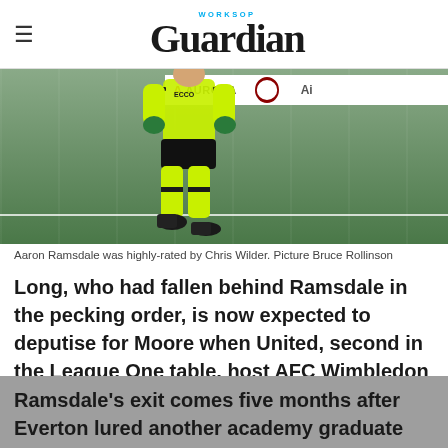WORKSOP Guardian
[Figure (photo): A goalkeeper wearing a bright yellow/lime green kit running on a football pitch. Advertising boards visible in the background.]
Aaron Ramsdale was highly-rated by Chris Wilder. Picture Bruce Rollinson
Long, who had fallen behind Ramsdale in the pecking order, is now expected to deputise for Moore when United, second in the League One table, host AFC Wimbledon this weekend.
Ramsdale's exit comes five months after Everton lured another academy graduate